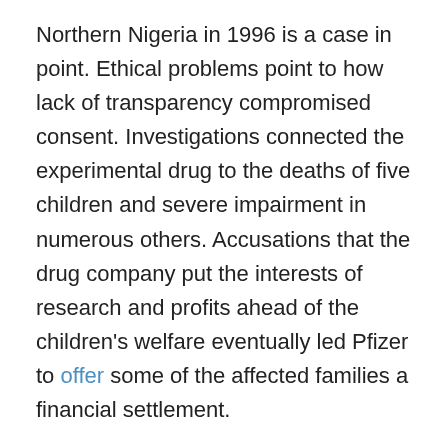Northern Nigeria in 1996 is a case in point. Ethical problems point to how lack of transparency compromised consent. Investigations connected the experimental drug to the deaths of five children and severe impairment in numerous others. Accusations that the drug company put the interests of research and profits ahead of the children's welfare eventually led Pfizer to offer some of the affected families a financial settlement.
Hard lessons learned from these cases demonstrate that clinical and social considerations may not be the only relevant factors in the current Ebola outbreak. As a result, global scrutiny is needed to help ensure that these factors are given proper weight in the face of potentially competing political and industry interests.
The relevant governance bodies in each of the